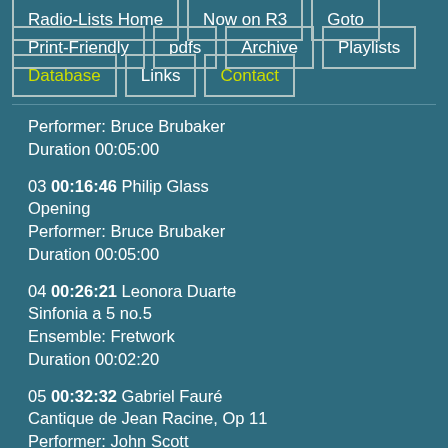Radio-Lists Home
Now on R3
Goto
Print-Friendly
pdfs
Archive
Playlists
Database
Links
Contact
Performer: Bruce Brubaker
Duration 00:05:00
03 00:16:46 Philip Glass
Opening
Performer: Bruce Brubaker
Duration 00:05:00
04 00:26:21 Leonora Duarte
Sinfonia a 5 no.5
Ensemble: Fretwork
Duration 00:02:20
05 00:32:32 Gabriel Fauré
Cantique de Jean Racine, Op 11
Performer: John Scott